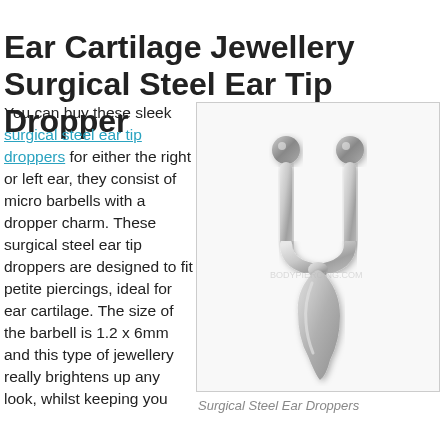Ear Cartilage Jewellery Surgical Steel Ear Tip Dropper
You can buy these sleek surgical steel ear tip droppers for either the right or left ear, they consist of micro barbells with a dropper charm. These surgical steel ear tip droppers are designed to fit petite piercings, ideal for ear cartilage. The size of the barbell is 1.2 x 6mm and this type of jewellery really brightens up any look, whilst keeping you
[Figure (photo): A surgical steel ear tip dropper jewellery piece showing a U-shaped barbell with two metal balls at the top and an elongated teardrop/leaf-shaped charm dropper at the bottom.]
Surgical Steel Ear Droppers